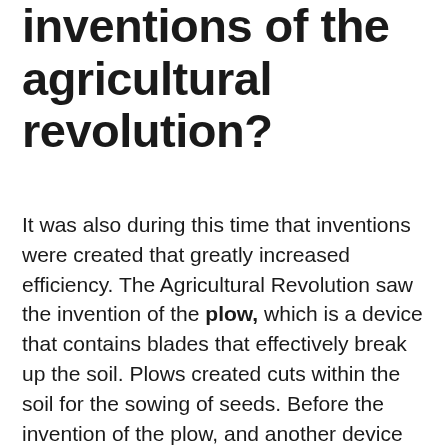inventions of the agricultural revolution?
It was also during this time that inventions were created that greatly increased efficiency. The Agricultural Revolution saw the invention of the plow, which is a device that contains blades that effectively break up the soil. Plows created cuts within the soil for the sowing of seeds. Before the invention of the plow, and another device called a seed drill, seeds were sown by hand, which was inefficient and led to many seeds failing to grow. A seed drill is a machine that plants seeds in uniform rows and then covers them.